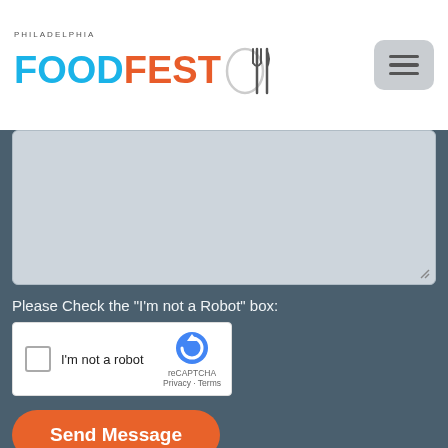[Figure (logo): Philadelphia Food Fest logo with fork and knife icon, FOOD in blue, FEST in orange-red]
[Figure (other): Hamburger menu button (three horizontal lines) in gray rounded rectangle]
[Figure (other): Large textarea input box with light blue-gray background, empty, with resize handle]
Please Check the "I'm not a Robot" box:
[Figure (other): reCAPTCHA widget showing checkbox, 'I'm not a robot' text, reCAPTCHA logo with Privacy and Terms links]
Send Message